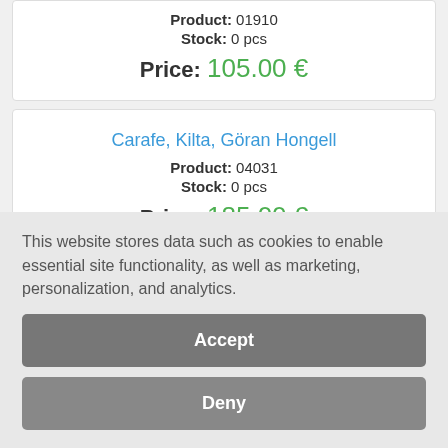Product: 01910
Stock: 0 pcs
Price: 105.00 €
Carafe, Kilta, Göran Hongell
Product: 04031
Stock: 0 pcs
Price: 185.00 €
Carafe, Nuutajärven lasi
This website stores data such as cookies to enable essential site functionality, as well as marketing, personalization, and analytics.
Accept
Deny